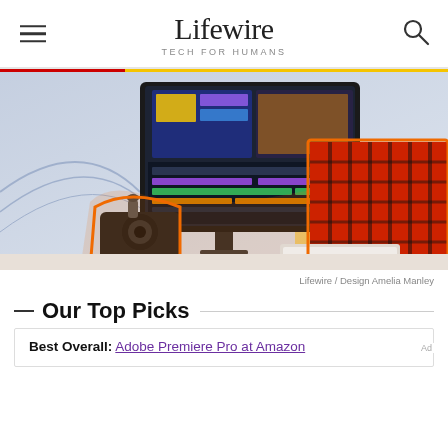Lifewire TECH FOR HUMANS
[Figure (photo): Person in red plaid shirt working at a computer with video editing software on screen, with a camera on the desk. Orange outline graphic overlay. Lifewire branded editorial photo.]
Lifewire / Design Amelia Manley
Our Top Picks
Best Overall: Adobe Premiere Pro at Amazon